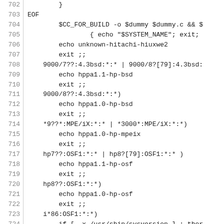Code listing lines 702-731, shell script with system detection cases including hitachi-hiuxwe2, HP BSD, MPE/iX, OSF1, and parisc Lites patterns